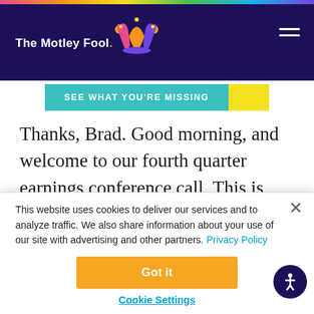The Motley Fool
[Figure (screenshot): Promotional banner reading SEE WHAT YOU'RE MISSING with teal background and yellow accent]
Thanks, Brad. Good morning, and welcome to our fourth quarter earnings conference call. This is Brady Connor, and I'm here with our Chairman and Chief Executive Officer, Hans Vestberg; and Matt
This website uses cookies to deliver our services and to analyze traffic. We also share information about your use of our site with advertising and other partners. Privacy Policy
Got it
Cookie Settings